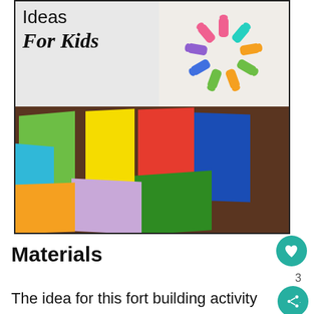[Figure (photo): Composite image: top half shows text 'Ideas For Kids' with colorful clothespins arranged in a circle on the right; bottom half shows multiple colorful folded t-shirts on a wooden surface.]
Materials
The idea for this fort building activity